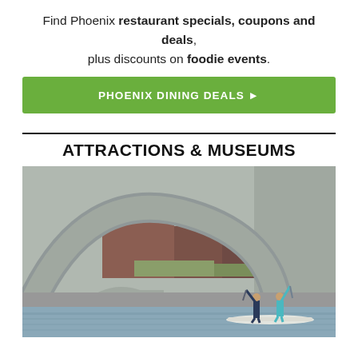Find Phoenix restaurant specials, coupons and deals, plus discounts on foodie events.
[Figure (other): Green button with text PHOENIX DINING DEALS ▶]
ATTRACTIONS & MUSEUMS
[Figure (photo): Two people paddle boarding on a canal or river under a large concrete arch bridge in Phoenix, Arizona. The bridge has multiple arches. Buildings and desert vegetation visible in background.]